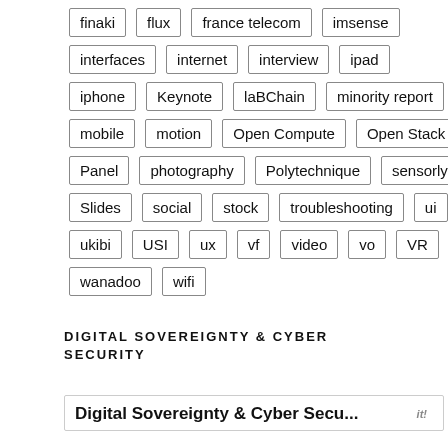finaki
flux
france telecom
imsense
interfaces
internet
interview
ipad
iphone
Keynote
laBChain
minority report
mobile
motion
Open Compute
Open Stack
Panel
photography
Polytechnique
sensorly
Slides
social
stock
troubleshooting
ui
ukibi
USI
ux
vf
video
vo
VR
wanadoo
wifi
DIGITAL SOVEREIGNTY & CYBER SECURITY
Digital Sovereignty & Cyber Secu...